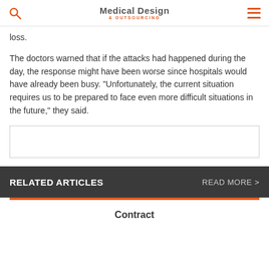Medical Design & Outsourcing
loss.
The doctors warned that if the attacks had happened during the day, the response might have been worse since hospitals would have already been busy. “Unfortunately, the current situation requires us to be prepared to face even more difficult situations in the future,” they said.
[Figure (other): Advertisement placeholder box]
RELATED ARTICLES    READ MORE >
Contract